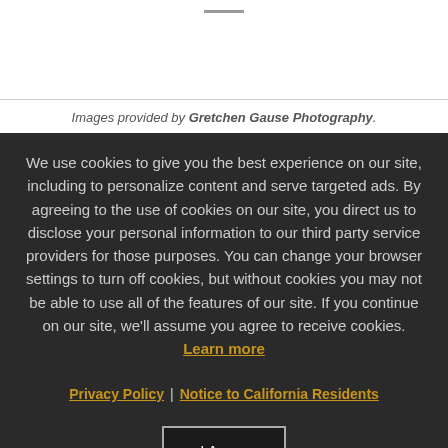Images provided by Gretchen Gause Photography.
We use cookies to give you the best experience on our site, including to personalize content and serve targeted ads. By agreeing to the use of cookies on our site, you direct us to disclose your personal information to our third party service providers for those purposes. You can change your browser settings to turn off cookies, but without cookies you may not be able to use all of the features of our site. If you continue on our site, we'll assume you agree to receive cookies. Learn more
Privacy Policy | Notice to California Residents
I Agree